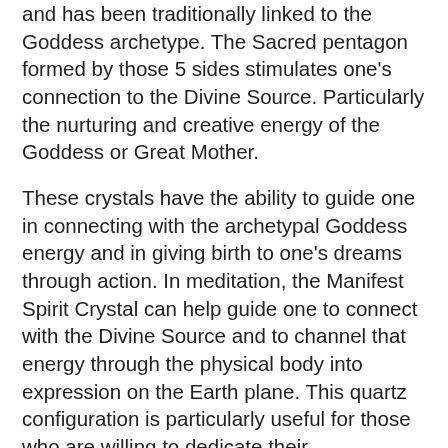and has been traditionally linked to the Goddess archetype. The Sacred pentagon formed by those 5 sides stimulates one's connection to the Divine Source. Particularly the nurturing and creative energy of the Goddess or Great Mother.
These crystals have the ability to guide one in connecting with the archetypal Goddess energy and in giving birth to one's dreams through action. In meditation, the Manifest Spirit Crystal can help guide one to connect with the Divine Source and to channel that energy through the physical body into expression on the Earth plane. This quartz configuration is particularly useful for those who are willing to dedicate their